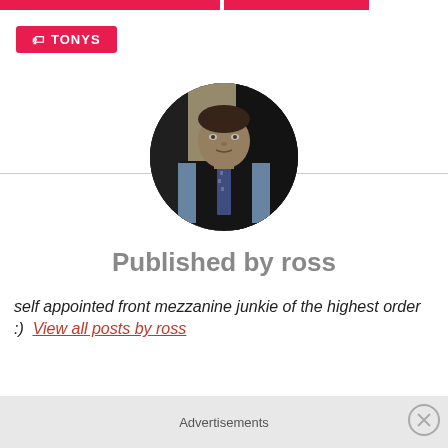[Figure (illustration): Two red horizontal bars at the top of the page]
TONYS
[Figure (photo): Circular profile photo of a person (ross) wearing a dark vest and striped tie, standing in a doorway]
Published by ross
self appointed front mezzanine junkie of the highest order :)
View all posts by ross
Advertisements